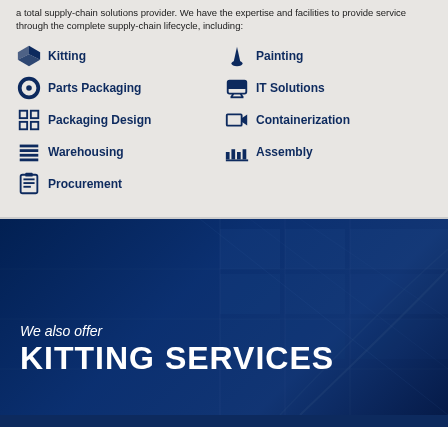a total supply-chain solutions provider. We have the expertise and facilities to provide service through the complete supply-chain lifecycle, including:
Kitting
Parts Packaging
Packaging Design
Warehousing
Procurement
Painting
IT Solutions
Containerization
Assembly
[Figure (photo): Dark blue warehouse/industrial background photo with text overlay reading 'We also offer KITTING SERVICES']